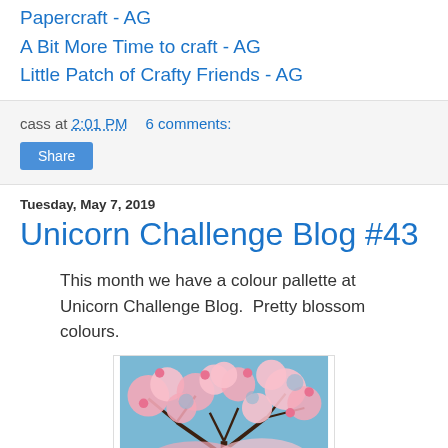Papercraft - AG
A Bit More Time to craft - AG
Little Patch of Crafty Friends - AG
cass at 2:01 PM    6 comments:
Share
Tuesday, May 7, 2019
Unicorn Challenge Blog #43
This month we have a colour pallette at Unicorn Challenge Blog.  Pretty blossom colours.
[Figure (photo): Cherry blossom tree with pink flowers against a blue sky background]